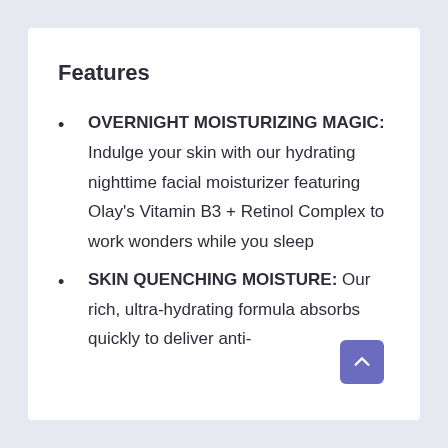Features
OVERNIGHT MOISTURIZING MAGIC: Indulge your skin with our hydrating nighttime facial moisturizer featuring Olay's Vitamin B3 + Retinol Complex to work wonders while you sleep
SKIN QUENCHING MOISTURE: Our rich, ultra-hydrating formula absorbs quickly to deliver anti-